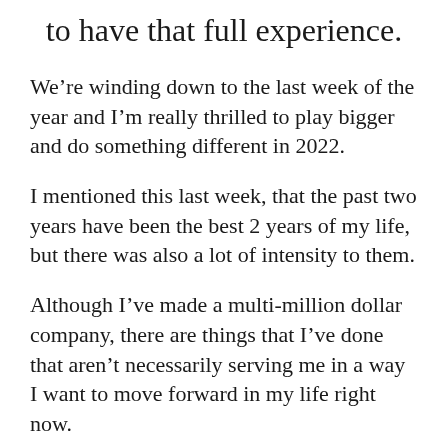to have that full experience.
We're winding down to the last week of the year and I'm really thrilled to play bigger and do something different in 2022.
I mentioned this last week, that the past two years have been the best 2 years of my life, but there was also a lot of intensity to them.
Although I've made a multi-million dollar company, there are things that I've done that aren't necessarily serving me in a way I want to move forward in my life right now.
And I'll admit that I've noticed